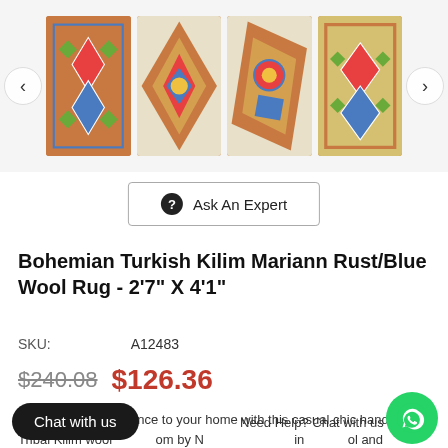[Figure (photo): Carousel of four kilim rug thumbnail photos with left and right navigation arrows]
Ask An Expert
Bohemian Turkish Kilim Mariann Rust/Blue Wool Rug - 2'7" X 4'1"
SKU:    A12483
$240.08  $126.36
Add a touch of elegance to your home with this casual chic hand woven Tribal Kilim wool... om by N... in... ool and ... dyes these beautiful rugs are known for their colorful repetitive geometric pattern with naturalistic floral and traditional patterns. The
Chat with us
Need Help? Chat with us